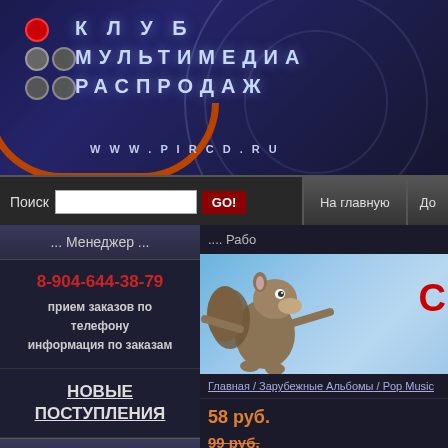[Figure (screenshot): Website header banner for КЛУБ МУЛЬТИМЕДИА РАСПРОДАЖ with logo circles, text, and URL www.pircd.ru on dark blue gradient background]
Поиск  GO!  На главную  До
... Менеджер ...
8-904-644-38-79
прием заказов по телефону
информация по заказам
НОВЫЕ ПОСТУПЛЕНИЯ
Авторизация
Логин
.... Рабо
[Figure (photo): Ice Age squirrel character (Scrat) on blue sky background with partial red Cyrillic text overlay]
Главная / Зарубежные Альбомы / Pop Music
58 руб.
99 руб.
Оценить: